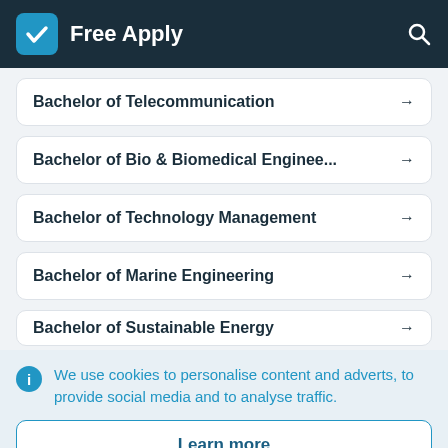Free Apply
Bachelor of Telecommunication →
Bachelor of Bio & Biomedical Enginee... →
Bachelor of Technology Management →
Bachelor of Marine Engineering →
Bachelor of Sustainable Energy →
We use cookies to personalise content and adverts, to provide social media and to analyse traffic.
Learn more
Accept